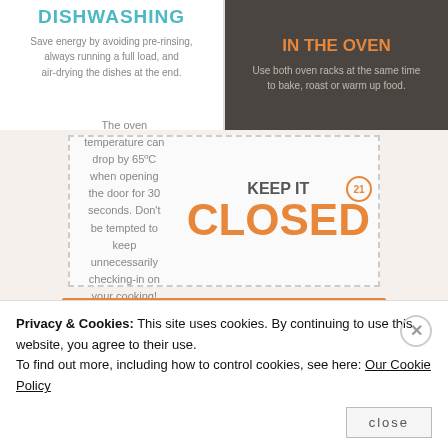[Figure (infographic): DISHWASHING tip: Save energy by avoiding pre-rinsing, always running a full load, and air-drying the dishes at the end.]
[Figure (infographic): IN THE OVEN tip: Use both oven racks at the same time to bake, roast or warm up food.]
[Figure (infographic): Tip 21 - KEEP IT CLOSED: The oven temperature can drop by 65°C when opening the door for 30 seconds. Don't be tempted to keep unnecessarily checking-in on your cooking!]
BEDROOM
[Figure (infographic): Tip 22 - ECO-SCENTS (orange candle/spray bottle graphic)]
[Figure (infographic): GROW HOUSEPLANTS (with vine and leaf decoration)]
Privacy & Cookies: This site uses cookies. By continuing to use this website, you agree to their use.
To find out more, including how to control cookies, see here: Our Cookie Policy
close
Follow